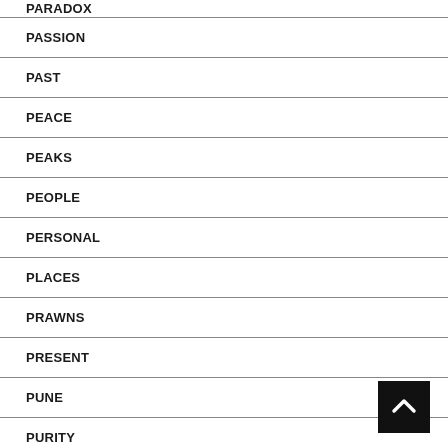PARADOX
PASSION
PAST
PEACE
PEAKS
PEOPLE
PERSONAL
PLACES
PRAWNS
PRESENT
PUNE
PURITY